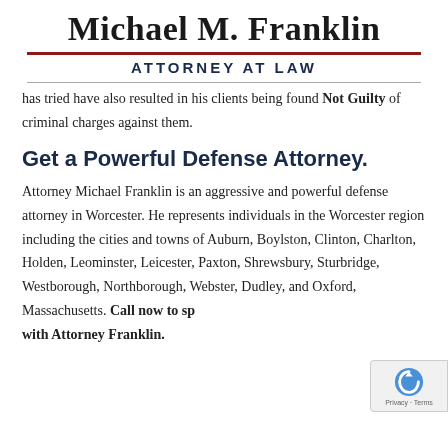Michael M. Franklin — ATTORNEY AT LAW
has tried have also resulted in his clients being found Not Guilty of criminal charges against them.
Get a Powerful Defense Attorney.
Attorney Michael Franklin is an aggressive and powerful defense attorney in Worcester. He represents individuals in the Worcester region including the cities and towns of Auburn, Boylston, Clinton, Charlton, Holden, Leominster, Leicester, Paxton, Shrewsbury, Sturbridge, Westborough, Northborough, Webster, Dudley, and Oxford, Massachusetts. Call now to sp with Attorney Franklin.